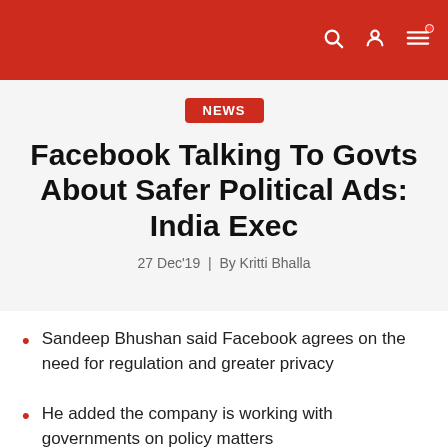NEWS
Facebook Talking To Govts About Safer Political Ads: India Exec
27 Dec'19 | By Kritti Bhalla
Sandeep Bhushan said Facebook agrees on the need for regulation and greater privacy
He added the company is working with governments on policy matters